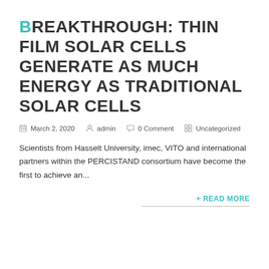BREAKTHROUGH: THIN FILM SOLAR CELLS GENERATE AS MUCH ENERGY AS TRADITIONAL SOLAR CELLS
March 2, 2020   admin   0 Comment   Uncategorized
Scientists from Hasselt University, imec, VITO and international partners within the PERCISTAND consortium have become the first to achieve an...
+ READ MORE